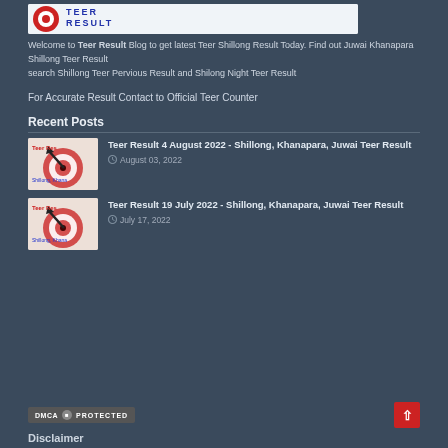[Figure (logo): Teer Result blog logo banner with red circle and blue title text]
Welcome to Teer Result Blog to get latest Teer Shillong Result Today. Find out Juwai Khanapara Shillong Teer Result search Shillong Teer Pervious Result and Shilong Night Teer Result
For Accurate Result Contact to Official Teer Counter
Recent Posts
[Figure (photo): Teer Result thumbnail with red target and arrow, Shillong Khanapara text]
Teer Result 4 August 2022 - Shillong, Khanapara, Juwai Teer Result
August 03, 2022
[Figure (photo): Teer Result thumbnail with red target and arrow, Shillong Khanapara text]
Teer Result 19 July 2022 - Shillong, Khanapara, Juwai Teer Result
July 17, 2022
[Figure (logo): DMCA Protected badge]
Disclaimer